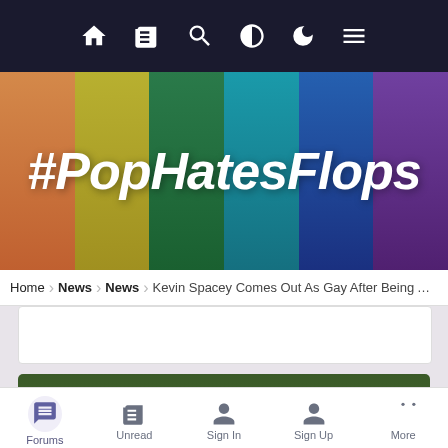Navigation bar with home, news, search, contrast, night mode, menu icons
[Figure (illustration): #PopHatesFlops website banner with colorful background panels featuring silhouettes of women with various hair colors]
#PopHatesFlops
Home > News > News > Kevin Spacey Comes Out As Gay After Being Accu...
[Figure (photo): White roses/flowers against green foliage background]
Forums | Unread | Sign In | Sign Up | More